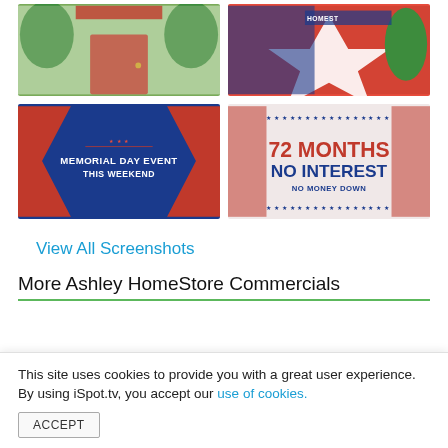[Figure (screenshot): Screenshot of Ashley HomeStore commercial showing a front door with plants]
[Figure (screenshot): Screenshot of Ashley HomeStore commercial showing star logo and HomeStore branding]
[Figure (screenshot): Screenshot of Ashley HomeStore Memorial Day Event commercial with text 'MEMORIAL DAY EVENT THIS WEEKEND']
[Figure (screenshot): Screenshot of Ashley HomeStore commercial showing '72 MONTHS NO INTEREST NO MONEY DOWN']
View All Screenshots
More Ashley HomeStore Commercials
This site uses cookies to provide you with a great user experience. By using iSpot.tv, you accept our use of cookies.
ACCEPT